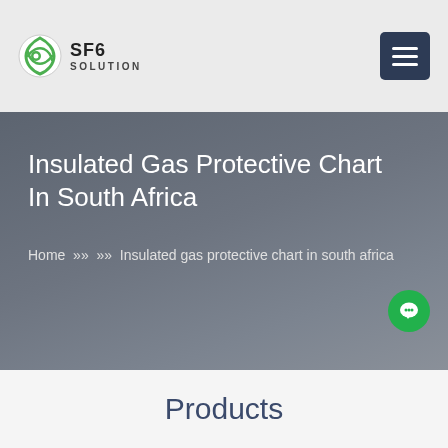SF6 SOLUTION
Insulated Gas Protective Chart In South Africa
Home >> >> Insulated gas protective chart in south africa
Products